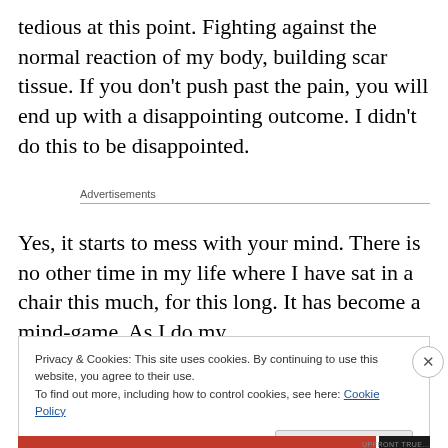tedious at this point. Fighting against the normal reaction of my body, building scar tissue. If you don't push past the pain, you will end up with a disappointing outcome. I didn't do this to be disappointed.
Advertisements
Yes, it starts to mess with your mind. There is no other time in my life where I have sat in a chair this much, for this long. It has become a mind-game. As I do my
Privacy & Cookies: This site uses cookies. By continuing to use this website, you agree to their use.
To find out more, including how to control cookies, see here: Cookie Policy
Close and accept